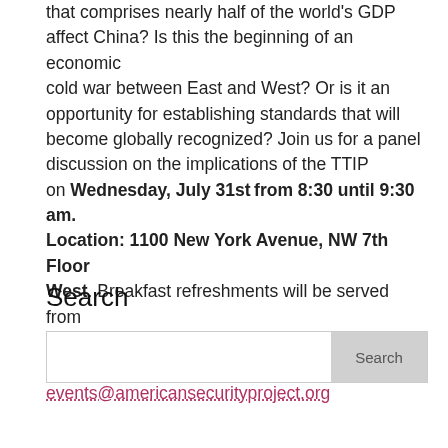that comprises nearly half of the world's GDP affect China? Is this the beginning of an economic cold war between East and West? Or is it an opportunity for establishing standards that will become globally recognized? Join us for a panel discussion on the implications of the TTIP on Wednesday, July 31st from 8:30 until 9:30 am. Location: 1100 New York Avenue, NW 7th Floor West. Breakfast refreshments will be served from 8:00 until 8:30 am. If you wish to attend, please RSVP by July 29th to: events@americansecurityproject.org
Search